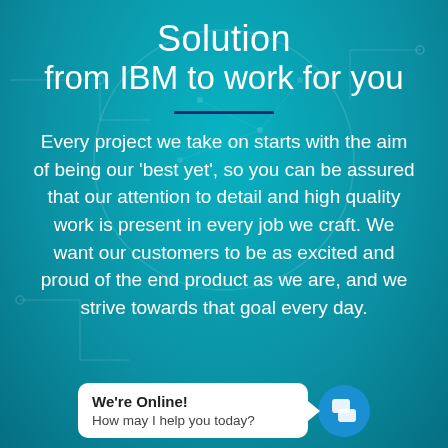[Figure (illustration): Teal/cyan background with faint circuit-board and brain network pattern overlay]
Solution
from IBM to work for you
Every project we take on starts with the aim of being our 'best yet', so you can be assured that our attention to detail and high quality work is present in every job we craft. We want our customers to be as excited and proud of the end product as we are, and we strive towards that goal every day.
We're Online!
How may I help you today?